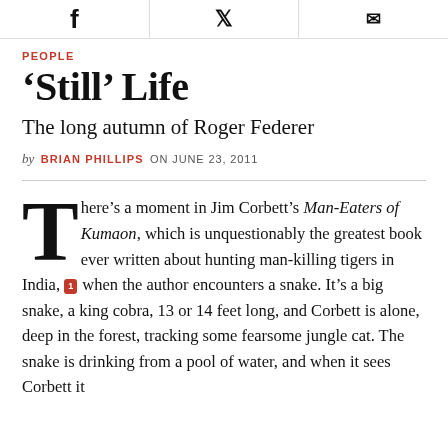[Social share icons: Facebook, Twitter, Email]
PEOPLE
'Still' Life
The long autumn of Roger Federer
by BRIAN PHILLIPS ON JUNE 23, 2011
There's a moment in Jim Corbett's Man-Eaters of Kumaon, which is unquestionably the greatest book ever written about hunting man-killing tigers in India, when the author encounters a snake. It's a big snake, a king cobra, 13 or 14 feet long, and Corbett is alone, deep in the forest, tracking some fearsome jungle cat. The snake is drinking from a pool of water, and when it sees Corbett it